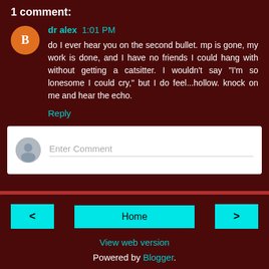1 comment:
dr alex 1:01 PM
do I ever hear you on the second bullet. mp is gone, my work is done, and I have no friends I could hang with without getting a catsitter. I wouldn't say "I'm so lonesome I could cry," but I do feel...hollow. knock on me and hear the echo.
Reply
Enter Comment
Home
View web version
Powered by Blogger.